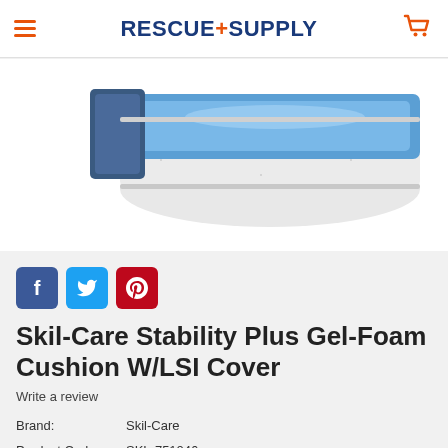RESCUE+SUPPLY
[Figure (photo): Product photo of Skil-Care Stability Plus Gel-Foam Cushion with LSI Cover — white foam cushion with blue gel top surface, shown at an angle]
[Figure (other): Social media share buttons: Facebook (blue), Twitter (light blue), Pinterest (red)]
Skil-Care Stability Plus Gel-Foam Cushion W/LSI Cover
Write a review
Brand: Skil-Care
Product Code: SKL-751046